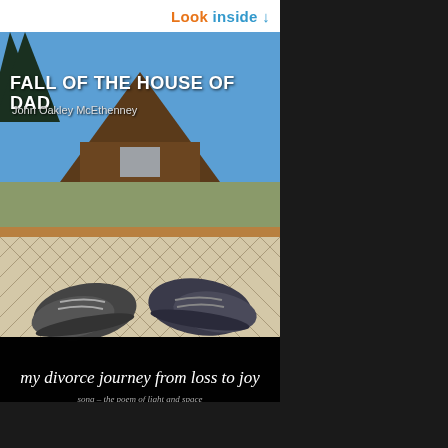Look inside ↓
[Figure (photo): Book cover of 'Fall of the House of Dad' by John Oakley McEthenney. Photo shows a person lying in a hammock looking up at an A-frame house against a blue sky, with their sneaker-clad feet visible in the foreground through the hammock netting. The lower portion has a dark band with cursive text.]
FALL OF THE HOUSE OF DAD
John Oakley McEthenney
my divorce journey from loss to joy
song – the poem of light and space